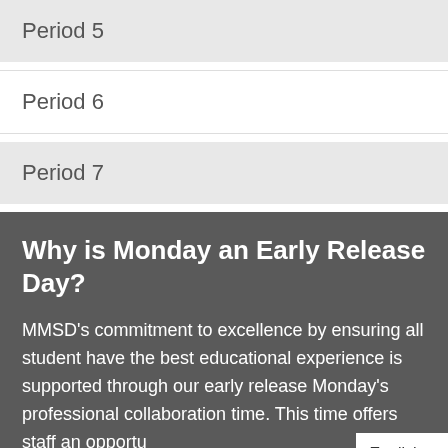Period 5
Period 6
Period 7
Why is Monday an Early Release Day?
MMSD's commitment to excellence by ensuring all student have the best educational experience is supported through our early release Monday's professional collaboration time. This time offers staff an opportu…